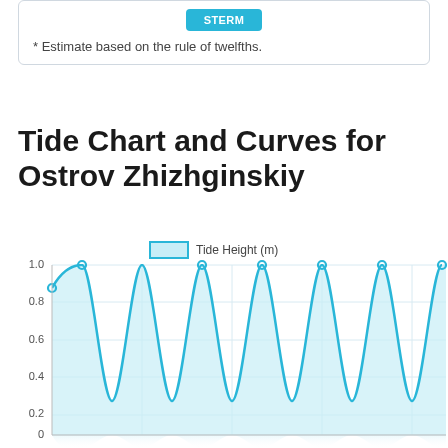* Estimate based on the rule of twelfths.
Tide Chart and Curves for Ostrov Zhizhginskiy
[Figure (continuous-plot): Area/line chart showing tide height in meters (m) over time. The chart shows repeating sinusoidal tidal curves with peaks near 1.0 m and troughs near 0.2 m. Legend shows 'Tide Height (m)' in cyan/blue. Y-axis labels: 0, 0.2, 0.4, 0.6, 0.8, 1.0. The filled area under the curve is light blue.]